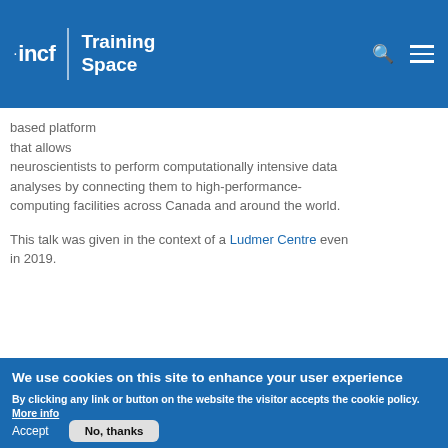incf | Training Space
based platform that allows neuroscientists to perform computationally intensive data analyses by connecting them to high-performance-computing facilities across Canada and around the world.
This talk was given in the context of a Ludmer Centre even in 2019.
We use cookies on this site to enhance your user experience
By clicking any link or button on the website the visitor accepts the cookie policy. More info
Accept
No, thanks